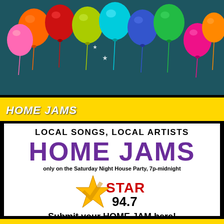[Figure (photo): Colorful balloons on a dark teal background with sparkles and light effects]
HOME JAMS
LOCAL SONGS, LOCAL ARTISTS
HOME JAMS
only on the Saturday Night House Party, 7p-midnight
[Figure (logo): Star 94.7 radio station logo with a gold star and stylized text]
Submit your HOME JAM here!